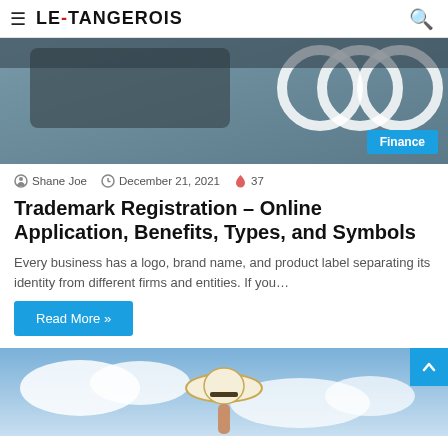LE-TANGEROIS
[Figure (photo): Close-up of a Volkswagen car badge/logo on a dark surface with white geometric ring shapes, with a blue Finance category badge overlay]
Shane Joe  December 21, 2021  37
Trademark Registration – Online Application, Benefits, Types, and Symbols
Every business has a logo, brand name, and product label separating its identity from different firms and entities. If you…
Read More »
[Figure (photo): Person holding up a white straw hat against a blue sky with clouds]